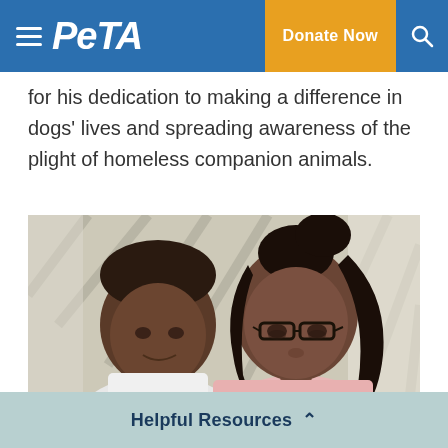PETA | Donate Now
for his dedication to making a difference in dogs' lives and spreading awareness of the plight of homeless companion animals.
[Figure (photo): Two people, a young boy on the left and a woman with glasses on the right, both looking downward, seated near window blinds in the background.]
Helpful Resources ^